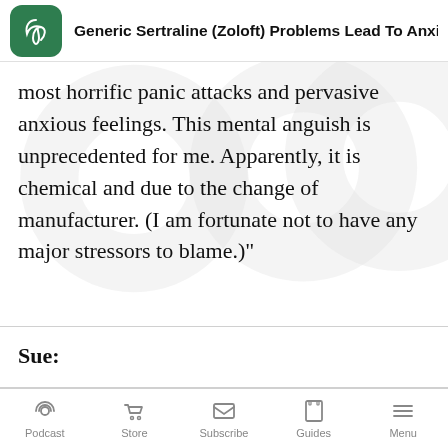Generic Sertraline (Zoloft) Problems Lead To Anxi
most horrific panic attacks and pervasive anxious feelings. This mental anguish is unprecedented for me. Apparently, it is chemical and due to the change of manufacturer. (I am fortunate not to have any major stressors to blame.)”
Sue:
Podcast  Store  Subscribe  Guides  Menu